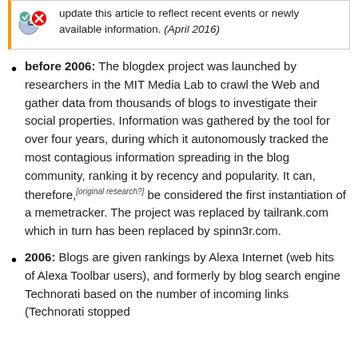update this article to reflect recent events or newly available information. (April 2016)
before 2006: The blogdex project was launched by researchers in the MIT Media Lab to crawl the Web and gather data from thousands of blogs to investigate their social properties. Information was gathered by the tool for over four years, during which it autonomously tracked the most contagious information spreading in the blog community, ranking it by recency and popularity. It can, therefore,[original research?] be considered the first instantiation of a memetracker. The project was replaced by tailrank.com which in turn has been replaced by spinn3r.com.
2006: Blogs are given rankings by Alexa Internet (web hits of Alexa Toolbar users), and formerly by blog search engine Technorati based on the number of incoming links (Technorati stopped